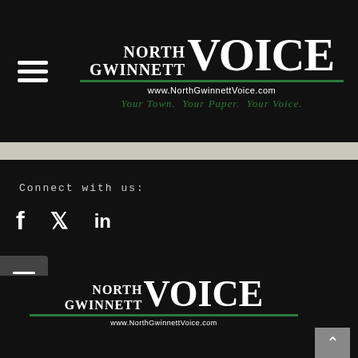[Figure (logo): North Gwinnett Voice newspaper logo with hamburger menu icon, website URL www.NorthGwinnettVoice.com and tagline 'Your Town. Your Paper. Your Voice.']
Connect with us:
[Figure (infographic): Social media icons: Facebook (f), Twitter (bird), LinkedIn (in)]
[Figure (logo): North Gwinnett Voice footer logo with green divider line and website URL www.NorthGwinnettVoice.com]